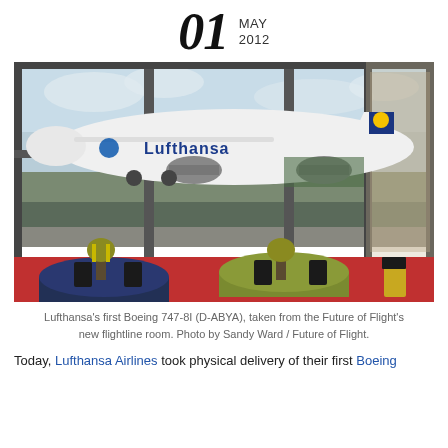01 MAY 2012
[Figure (photo): Lufthansa's first Boeing 747-8I (D-ABYA) parked on the tarmac, viewed through large glass windows of the Future of Flight's new flightline room. Indoor tables with yellow flowers and dark table cloths are in the foreground. Red carpet on the floor.]
Lufthansa's first Boeing 747-8I (D-ABYA), taken from the Future of Flight's new flightline room. Photo by Sandy Ward / Future of Flight.
Today, Lufthansa Airlines took physical delivery of their first Boeing